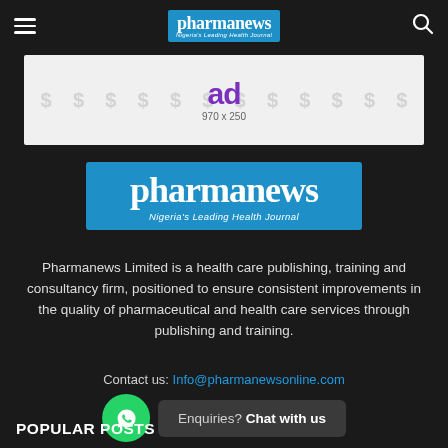pharmanews — Nigeria's Leading Health Journal
[Figure (other): Advertisement banner placeholder showing 'ad' in purple and '970 x 250' text on light grey background with watermark dollar signs]
[Figure (logo): Pharmanews logo on blue background — large white bold serif text 'pharmanews' with italic subtitle 'Nigeria's Leading Health Journal']
Pharmanews Limited is a health care publishing, training and consultancy firm, positioned to ensure consistent improvements in the quality of pharmaceutical and health care services through publishing and training.
Contact us: Info@pharmanewsonline.com
Enquiries? Chat with us
POPULAR POSTS